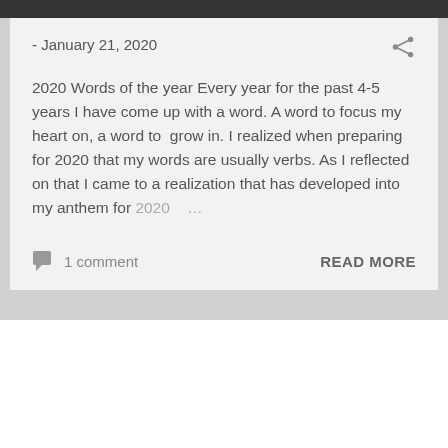- January 21, 2020
2020 Words of the year Every year for the past 4-5 years I have come up with a word. A word to focus my heart on, a word to  grow in. I realized when preparing for 2020 that my words are usually verbs. As I reflected on that I came to a realization that has developed into my anthem for 2020 …
1 comment
READ MORE